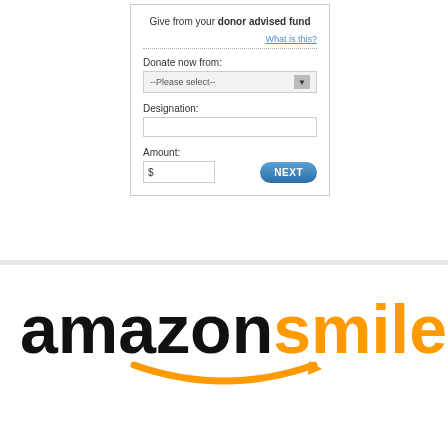Give from your donor advised fund
What is this?
Donate now from:
--Please select--
Designation:
Amount:
[Figure (logo): AmazonSmile logo with black 'amazon' text and orange 'smile' text, with orange arrow/smile underneath]